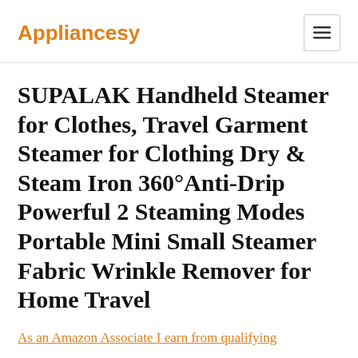Appliancesy
SUPALAK Handheld Steamer for Clothes, Travel Garment Steamer for Clothing Dry & Steam Iron 360°Anti-Drip Powerful 2 Steaming Modes Portable Mini Small Steamer Fabric Wrinkle Remover for Home Travel
As an Amazon Associate I earn from qualifying